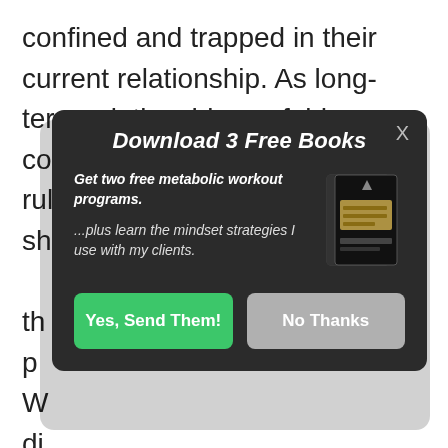confined and trapped in their current relationship. As long-term relationships unfold, many conscious and unconscious rules to the relationship take shape and form. And at first, th... ex... e, th... p... W... di... u... n... se... s y...
[Figure (screenshot): A modal popup dialog with dark background (dark gray/charcoal). Title: 'Download 3 Free Books' in bold italic white text. Body text: 'Get two free metabolic workout programs.' and '...plus learn the mindset strategies I use with my clients.' An image of book covers appears at top right of the modal. Two buttons at bottom: green 'Yes, Send Them!' and gray 'No Thanks'. A close X button is at the top right corner.]